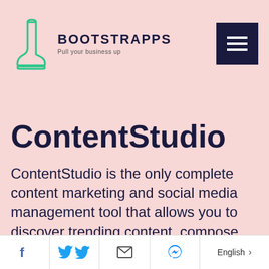[Figure (logo): Bootstrapps logo: a green outline boot illustration with 'BOOTSTRAPPS' text in dark navy bold caps and tagline 'Pull your business up' below, plus a dark navy hamburger menu button on the right.]
ContentStudio
ContentStudio is the only complete content marketing and social media management tool that allows you to discover trending content, compose
Facebook | Twitter | Email | Messenger | English >